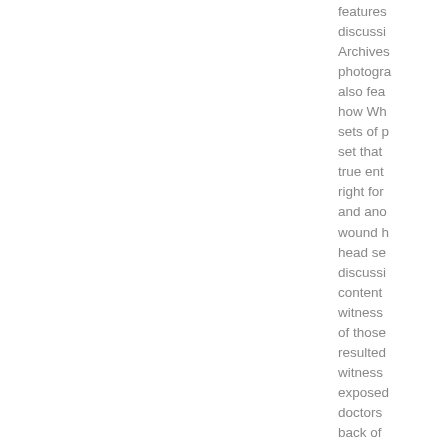features discussion Archives photogra also fea how Wh sets of p set that true ent right for and ano wound h head se discussi content witness of those resulted witness exposed doctors back of interview photos w interview